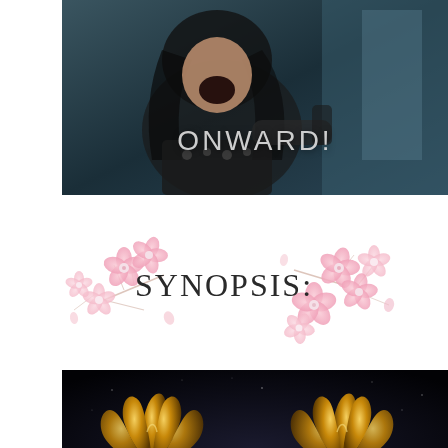[Figure (photo): A warrior/medieval character shouting with mouth open wide, wearing dark leather armor, with long dark hair. Text 'ONWARD!' overlaid in light grey letters.]
[Figure (illustration): Decorative floral illustration with pink cherry blossoms and branches surrounding the text 'SYNOPSIS:' in thin dark letters on white background.]
[Figure (photo): Dark background with two golden decorative crown or claw-like ornamental objects glowing against a dark starry/textured background.]